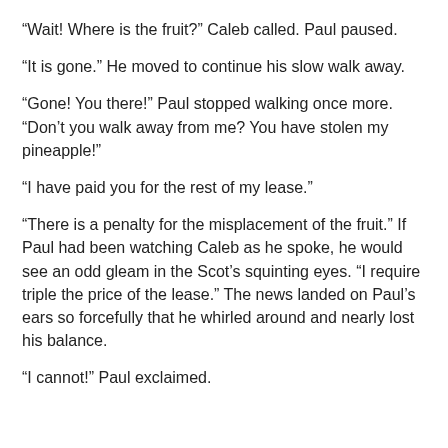“Wait! Where is the fruit?” Caleb called. Paul paused.
“It is gone.” He moved to continue his slow walk away.
“Gone! You there!” Paul stopped walking once more. “Don’t you walk away from me? You have stolen my pineapple!”
“I have paid you for the rest of my lease.”
“There is a penalty for the misplacement of the fruit.” If Paul had been watching Caleb as he spoke, he would see an odd gleam in the Scot’s squinting eyes. “I require triple the price of the lease.” The news landed on Paul’s ears so forcefully that he whirled around and nearly lost his balance.
“I cannot!” Paul exclaimed.